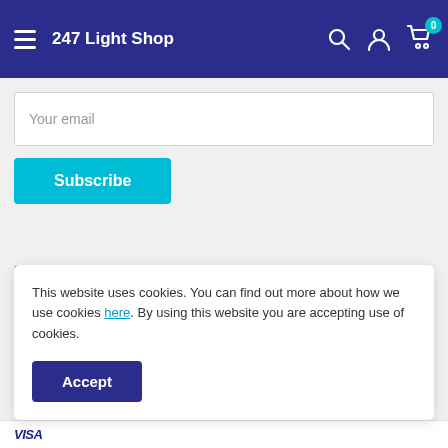247 Light Shop
Your email
Subscribe
Follow Us
This website uses cookies. You can find out more about how we use cookies here. By using this website you are accepting use of cookies.
Accept
VISA